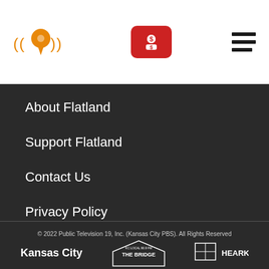[Figure (logo): Flatland logo: orange location pin with radio waves on white header bar, red donate button with person/dollar icon, and hamburger menu icon]
About Flatland
Support Flatland
Contact Us
Privacy Policy
Terms of Use
© 2022 Public Television 19, Inc. (Kansas City PBS). All Rights Reserved
[Figure (logo): Kansas City PBS logo text, The Bridge radio logo badge, and Hearken logo in white at bottom]